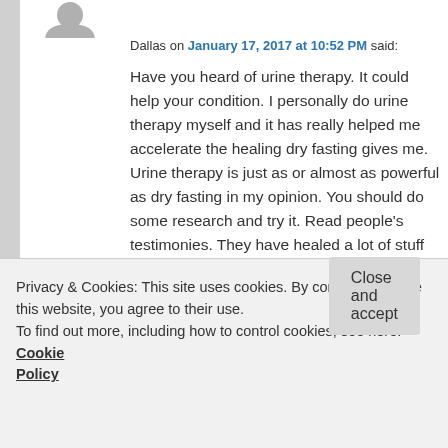[Figure (illustration): Gray avatar/person silhouette icon at top of comment]
Dallas on January 17, 2017 at 10:52 PM said:
Have you heard of urine therapy. It could help your condition. I personally do urine therapy myself and it has really helped me accelerate the healing dry fasting gives me. Urine therapy is just as or almost as powerful as dry fasting in my opinion. You should do some research and try it. Read people's testimonies. They have healed a lot of stuff from urine alone. Aged urine is even better to drink. The key to longevity is: Dry fasting + Urine Therapy + Calorie Restriction + Mostly Raw diet + Short Burst exercises + Organic wine. You might think urine is a waste product but if you do your
Privacy & Cookies: This site uses cookies. By continuing to use this website, you agree to their use.
To find out more, including how to control cookies, see here: Cookie Policy
Close and accept